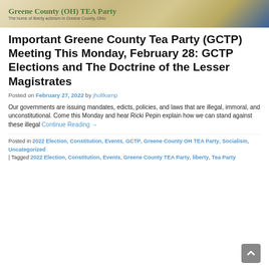[Figure (illustration): Greene County (OH) TEA Party banner with decorative background, logo text reading 'Greene County (OH) TEA Party' and subtitle 'The home of liberty activism in Greene County, Ohio']
Important Greene County Tea Party (GCTP) Meeting This Monday, February 28: GCTP Elections and The Doctrine of the Lesser Magistrates
Posted on February 27, 2022 by jholtkamp
Our governments are issuing mandates, edicts, policies, and laws that are illegal, immoral, and unconstitutional. Come this Monday and hear Ricki Pepin explain how we can stand against these illegal Continue Reading →
Posted in 2022 Election, Constitution, Events, GCTP, Greene County OH TEA Party, Socialism, Uncategorized | Tagged 2022 Election, Constitution, Events, Greene County TEA Party, liberty, Tea Party